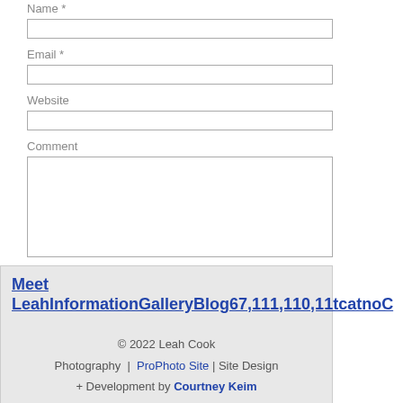Name *
Email *
Website
Comment
Post Comment
Meet LeahInformationGalleryBlog67,111,110,11tcatnoC
© 2022 Leah Cook Photography  |  ProPhoto Site | Site Design + Development by Courtney Keim